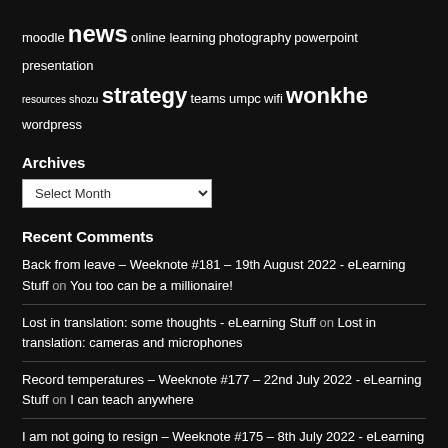moodle news online learning photography powerpoint presentation resources shozu strategy teams umpc wifi wonkhe wordpress
Archives
Select Month
Recent Comments
Back from leave – Weeknote #181 – 19th August 2022 - eLearning Stuff on You too can be a millionaire!
Lost in translation: some thoughts - eLearning Stuff on Lost in translation: cameras and microphones
Record temperatures – Weeknote #177 – 22nd July 2022 - eLearning Stuff on I can teach anywhere
I am not going to resign – Weeknote #175 – 8th July 2022 - eLearning